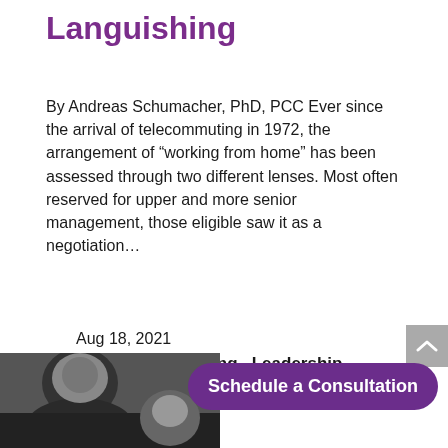Languishing
By Andreas Schumacher, PhD, PCC Ever since the arrival of telecommuting in 1972, the arrangement of “working from home” has been assessed through two different lenses. Most often reserved for upper and more senior management, those eligible saw it as a negotiation…
Aug 18, 2021
Executive Coaching,  Leadership
[Figure (other): Gray scroll-to-top button with upward chevron arrow]
[Figure (photo): Black and white photo partially visible at the bottom of the page showing a person]
Schedule a Consultation